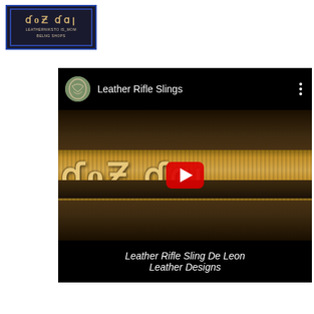[Figure (logo): De Leon Leather Designs logo with stylized text on dark background with blue border]
[Figure (screenshot): YouTube video thumbnail showing a leather rifle sling with embossed lettering. Channel named 'Leather Rifle Slings' with play button overlay. Caption reads 'Leather Rifle Sling De Leon Leather Designs'.]